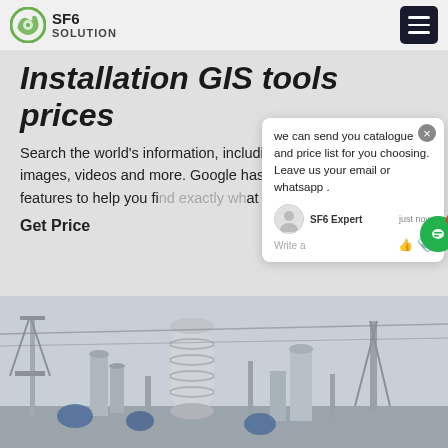SF6 SOLUTION
Installation GIS tools prices
Search the world's information, including webpages, images, videos and more. Google has many special features to help you find exactly what you're looking for.
Get Price
[Figure (screenshot): Chat popup with message: we can send you catalogue and price list for you choosing. Leave us your email or whatsapp . SF6 Expert agent, just now. Write a message input area.]
[Figure (photo): Industrial GIS electrical equipment installation photo showing various high-voltage apparatus, cylindrical insulators, and equipment in an outdoor substation setting.]